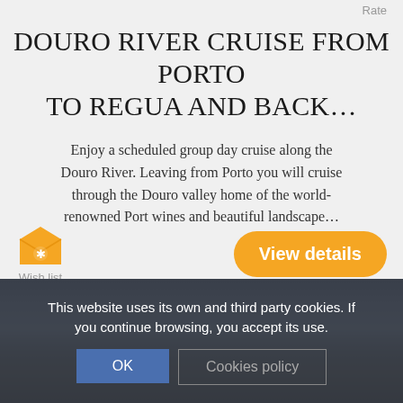Rate
DOURO RIVER CRUISE FROM PORTO TO REGUA AND BACK…
Enjoy a scheduled group day cruise along the Douro River. Leaving from Porto you will cruise through the Douro valley home of the world-renowned Port wines and beautiful landscape…
[Figure (illustration): Wish list envelope icon with star in orange/yellow color]
Wish list
View details
[Figure (photo): Background photo of historical stone building/castle with cloudy sky, partially obscured by cookie consent banner]
This website uses its own and third party cookies. If you continue browsing, you accept its use.
OK
Cookies policy